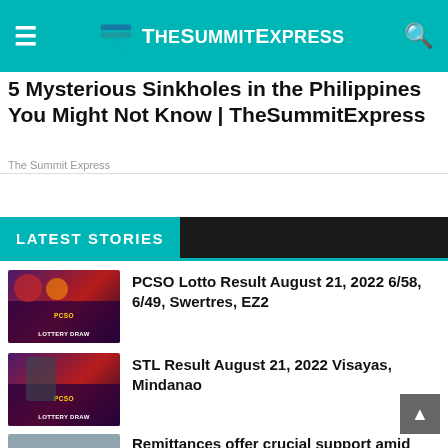TheSummitExpress
5 Mysterious Sinkholes in the Philippines You Might Not Know | TheSummitExpress
The Summit Express
LATEST STORIES
[Figure (photo): PCSO Lotto Draw thumbnail showing people in masks holding lottery tickets]
PCSO Lotto Result August 21, 2022 6/58, 6/49, Swertres, EZ2
[Figure (photo): STL PCSO Lottery Draw thumbnail showing a man in suit at podium]
STL Result August 21, 2022 Visayas, Mindanao
[Figure (photo): Remittances article thumbnail]
Remittances offer crucial support amid rising prices, weakening economy